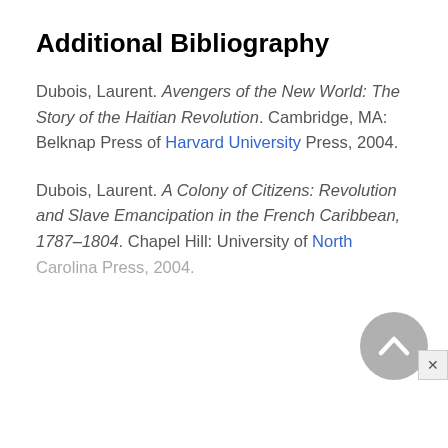Additional Bibliography
Dubois, Laurent. Avengers of the New World: The Story of the Haitian Revolution. Cambridge, MA: Belknap Press of Harvard University Press, 2004.
Dubois, Laurent. A Colony of Citizens: Revolution and Slave Emancipation in the French Caribbean, 1787–1804. Chapel Hill: University of North Carolina Press, 2004.